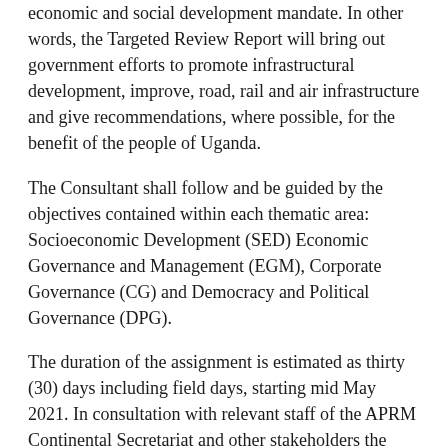economic and social development mandate. In other words, the Targeted Review Report will bring out government efforts to promote infrastructural development, improve, road, rail and air infrastructure and give recommendations, where possible, for the benefit of the people of Uganda.
The Consultant shall follow and be guided by the objectives contained within each thematic area: Socioeconomic Development (SED) Economic Governance and Management (EGM), Corporate Governance (CG) and Democracy and Political Governance (DPG).
The duration of the assignment is estimated as thirty (30) days including field days, starting mid May 2021. In consultation with relevant staff of the APRM Continental Secretariat and other stakeholders the consultant shall prepare and submit the following on